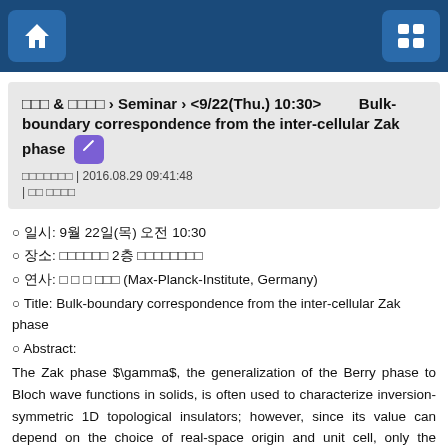Home navigation and menu buttons
□□□ & □□□□ › Seminar › <9/22(Thu.) 10:30> Bulk-boundary correspondence from the inter-cellular Zak phase
□□□□□□□ | 2016.08.29 09:41:48 | □□ □□□□
○ 일시: 9월 22일(목) 오전 10:30
○ 장소: □□□□□□ 2층 □□□□□□□□
○ 연사: □ □ □ □□□ (Max-Planck-Institute, Germany)
○ Title: Bulk-boundary correspondence from the inter-cellular Zak phase
○ Abstract:
The Zak phase $\gamma$, the generalization of the Berry phase to Bloch wave functions in solids, is often used to characterize inversion-symmetric 1D topological insulators; however, since its value can depend on the choice of real-space origin and unit cell, only the difference between the Zak phase of two regions is believed to be